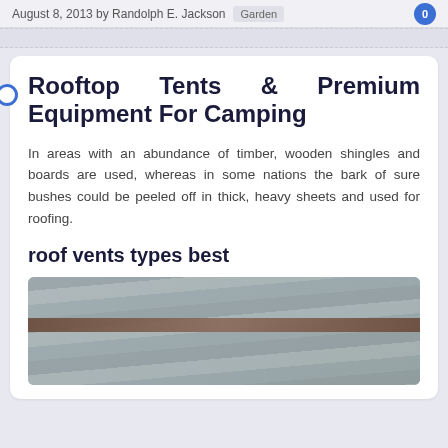August 8, 2013 by Randolph E. Jackson   Garden   0
Rooftop Tents & Premium Equipment For Camping
In areas with an abundance of timber, wooden shingles and boards are used, whereas in some nations the bark of sure bushes could be peeled off in thick, heavy sheets and used for roofing.
roof vents types best
[Figure (photo): Photograph of a rooftop showing roof tiles and a dark wooden rail/trim, with greenery visible in the background.]